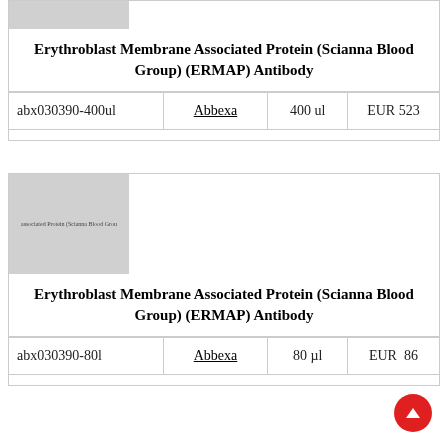[Figure (other): Placeholder image thumbnail for Erythroblast Membrane Associated Protein (Scianna Blood Group) antibody product, top card]
Erythroblast Membrane Associated Protein (Scianna Blood Group) (ERMAP) Antibody
|  | Abbexa | 400 ul | EUR 523 |
| --- | --- | --- | --- |
| abx030390-400ul | Abbexa | 400 ul | EUR 523 |
[Figure (other): Placeholder image thumbnail for Erythroblast Membrane Associated Protein (Scianna Blood Group) antibody product, bottom card]
Erythroblast Membrane Associated Protein (Scianna Blood Group) (ERMAP) Antibody
|  | Abbexa | 80 µl | EUR 86 |
| --- | --- | --- | --- |
| abx030390-80l | Abbexa | 80 µl | EUR 86 |